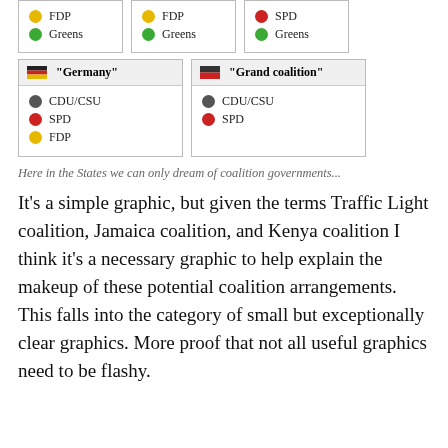[Figure (infographic): Legend boxes showing German political party coalition groupings: top row with FDP+Greens, FDP+Greens, SPD+Greens; bottom row with Germany (CDU/CSU, SPD, FDP) and Grand coalition (CDU/CSU, SPD). Each party represented by a colored dot.]
Here in the States we can only dream of coalition governments...
It's a simple graphic, but given the terms Traffic Light coalition, Jamaica coalition, and Kenya coalition I think it's a necessary graphic to help explain the makeup of these potential coalition arrangements. This falls into the category of small but exceptionally clear graphics. More proof that not all useful graphics need to be flashy.